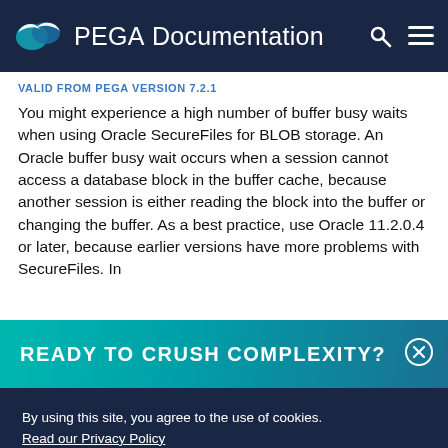PEGA Documentation
VALID FROM PEGA VERSION 7.2.1
You might experience a high number of buffer busy waits when using Oracle SecureFiles for BLOB storage. An Oracle buffer busy wait occurs when a session cannot access a database block in the buffer cache, because another session is either reading the block into the buffer or changing the buffer. As a best practice, use Oracle 11.2.0.4 or later, because earlier versions have more problems with SecureFiles. In
[Figure (infographic): Teal gradient promotional banner with text READY TO CRUSH COMPLEXITY? and a circular close/X button on the right]
By using this site, you agree to the use of cookies.
Read our Privacy Policy
Accept and continue    About cookies